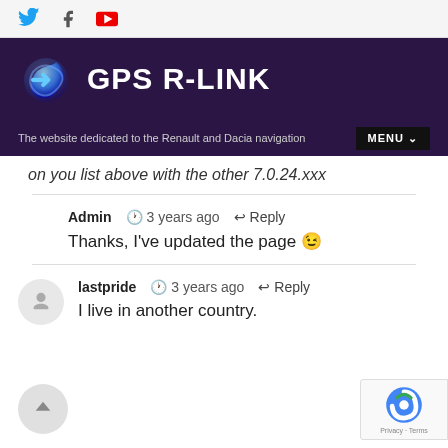[Figure (logo): Social media icons: Twitter (blue bird), Facebook (f), YouTube (red rectangle). Top navigation bar.]
[Figure (logo): GPS R-LINK site header with logo icon and white bold text on dark purple background.]
The website dedicated to the Renault and Dacia navigation s...
on you list above with the other 7.0.24.xxx
Admin  3 years ago  Reply
Thanks, I've updated the page 😉
lastpride  3 years ago  Reply
I live in another country.